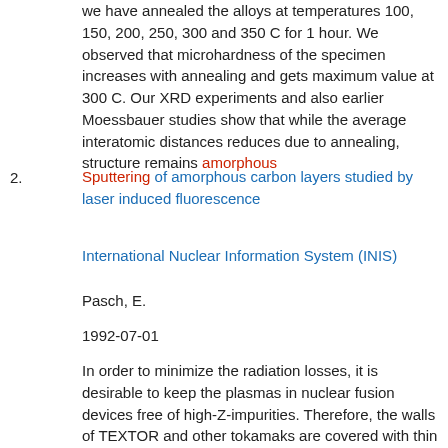we have annealed the alloys at temperatures 100, 150, 200, 250, 300 and 350 C for 1 hour. We observed that microhardness of the specimen increases with annealing and gets maximum value at 300 C. Our XRD experiments and also earlier Moessbauer studies show that while the average interatomic distances reduces due to annealing, structure remains amorphous
Sputtering of amorphous carbon layers studied by laser induced fluorescence
International Nuclear Information System (INIS)
Pasch, E.
1992-07-01
In order to minimize the radiation losses, it is desirable to keep the plasmas in nuclear fusion devices free of high-Z-impurities. Therefore, the walls of TEXTOR and other tokamaks are covered with thin layers of amorphous carbon layers (a-C:H) or amorphous carbon/boron layers (a-C/B:H). The sputtering behaviour of these layers has been studied under bombardment by Ar + ions with energies of 1.5 keV and current densities of a